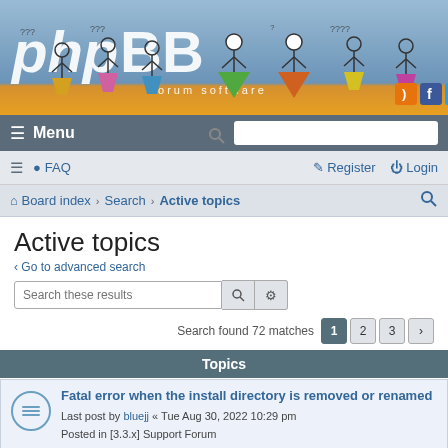[Figure (illustration): phpBB forum software banner with colorful stick figure characters on blue fabric background, RSS/Facebook/Twitter icons bottom right, orange ground strip]
≡ Menu  [search bar]
≡  ? FAQ    Register  Login
Board index › Search › Active topics  [search icon]
Active topics
‹ Go to advanced search
Search these results  [search button] [settings button]
Search found 72 matches  1  2  3  ›
Topics
Fatal error when the install directory is removed or renamed
Last post by bluejj « Tue Aug 30, 2022 10:29 pm
Posted in [3.3.x] Support Forum
Replies: 7